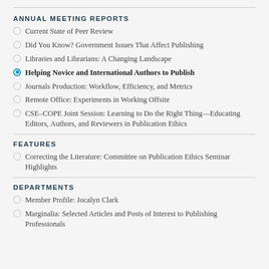ANNUAL MEETING REPORTS
Current State of Peer Review
Did You Know? Government Issues That Affect Publishing
Libraries and Librarians: A Changing Landscape
Helping Novice and International Authors to Publish
Journals Production: Workflow, Efficiency, and Metrics
Remote Office: Experiments in Working Offsite
CSE–COPE Joint Session: Learning to Do the Right Thing—Educating Editors, Authors, and Reviewers in Publication Ethics
FEATURES
Correcting the Literature: Committee on Publication Ethics Seminar Highlights
DEPARTMENTS
Member Profile: Jocalyn Clark
Marginalia: Selected Articles and Posts of Interest to Publishing Professionals